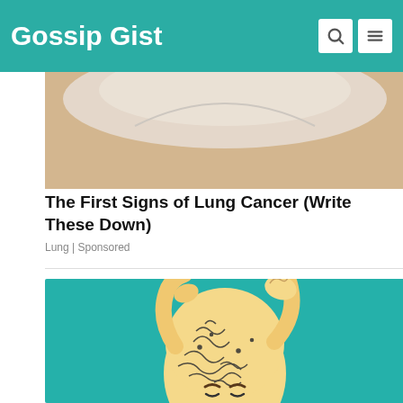Gossip Gist
[Figure (photo): Partial view of a person's neck and shoulder area with white clothing, skin-toned background]
The First Signs of Lung Cancer (Write These Down)
Lung | Sponsored
[Figure (illustration): Cartoon illustration of a bald person with swirling pattern lines on their head, hands raised pulling at top of head, teal background]